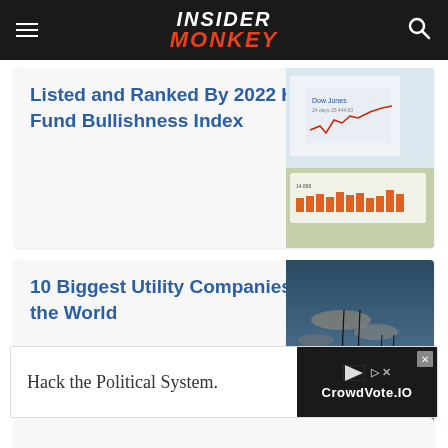INSIDER MONKEY
Listed and Ranked By 2022 Hedge Fund Bullishness Index
[Figure (photo): Stock chart showing Dow Jones performance with line graph on financial paper]
10 Biggest Utility Companies in the World
[Figure (photo): Silhouette of electric power transmission towers against orange sunset sky]
Hack the Political System.
[Figure (screenshot): CrowdVote.IO advertisement banner]